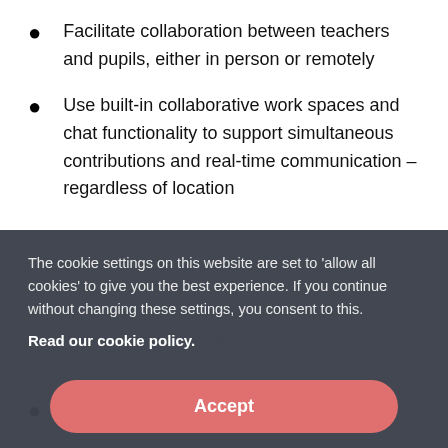Facilitate collaboration between teachers and pupils, either in person or remotely
Use built-in collaborative work spaces and chat functionality to support simultaneous contributions and real-time communication – regardless of location
Increase exposure to and understanding of different perspectives
Develop higher-level thought, oral